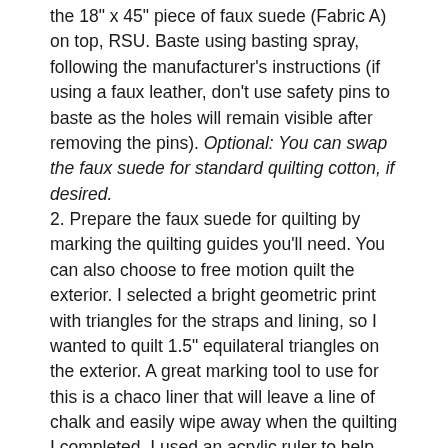the 18" x 45" piece of faux suede (Fabric A) on top, RSU. Baste using basting spray, following the manufacturer's instructions (if using a faux leather, don't use safety pins to baste as the holes will remain visible after removing the pins). Optional: You can swap the faux suede for standard quilting cotton, if desired.
2. Prepare the faux suede for quilting by marking the quilting guides you'll need. You can also choose to free motion quilt the exterior. I selected a bright geometric print with triangles for the straps and lining, so I wanted to quilt 1.5" equilateral triangles on the exterior. A great marking tool to use for this is a chaco liner that will leave a line of chalk and easily wipe away when the quilting I completed. I used an acrylic ruler to help mark my quilting lines.
3. To attach the Dual Feed Foot, raise the needle to the highest position and raise the presser foot lifter. Loosen the setscrew and remove the standard foot holder. Attach the dual feed foot holder to the presser bar and tighten the setscrew lightly with your finger. Push the